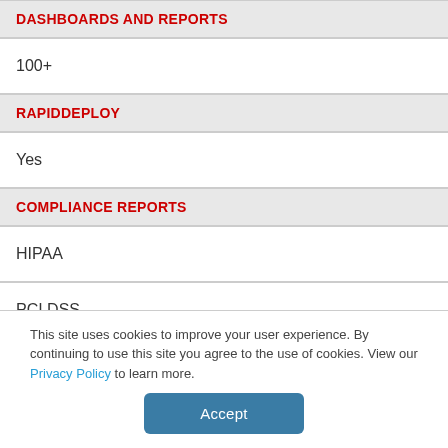DASHBOARDS AND REPORTS
100+
RAPIDDEPLOY
Yes
COMPLIANCE REPORTS
HIPAA
PCI DSS
Search Engine for KCSiE (United Kingdom)
This site uses cookies to improve your user experience. By continuing to use this site you agree to the use of cookies. View our Privacy Policy to learn more.
Accept